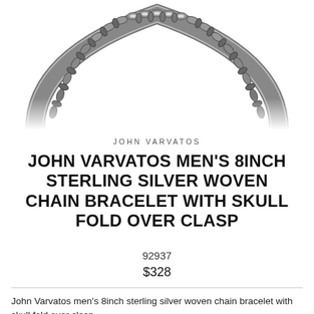[Figure (photo): Close-up photo of a sterling silver woven chain bracelet with Byzantine-style links, curved in an arc on white background]
JOHN VARVATOS
JOHN VARVATOS MEN'S 8INCH STERLING SILVER WOVEN CHAIN BRACELET WITH SKULL FOLD OVER CLASP
92937
$328
John Varvatos men's 8inch sterling silver woven chain bracelet with skull fold over clasp